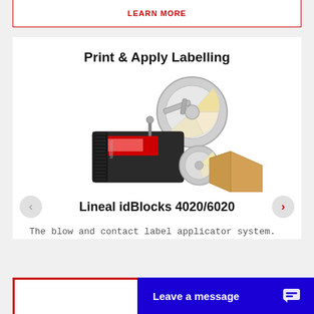LEARN MORE
Print & Apply Labelling
[Figure (photo): Product photo of Lineal idBlocks 4020/6020 print and apply label applicator system showing machinery with circular label roll and applicator mechanism]
Lineal idBlocks 4020/6020
The blow and contact label applicator system.
Leave a message